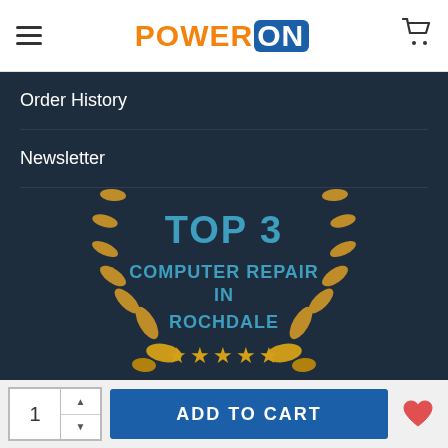[Figure (logo): PowerON logo with orange POWER text and blue ON badge]
Order History
Newsletter
[Figure (illustration): 2021 Top 3 Computer Repair in Rochdale award badge with golden laurel wreath and five gold stars]
ADD TO CART